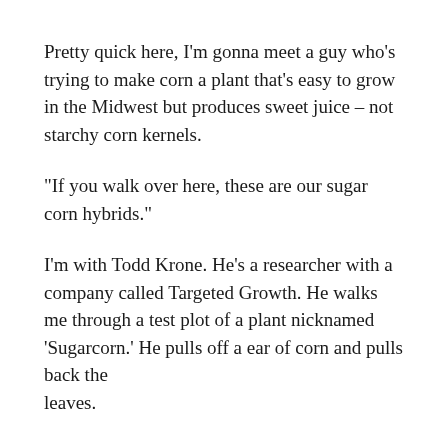Pretty quick here, I'm gonna meet a guy who's trying to make corn a plant that's easy to grow in the Midwest but produces sweet juice – not starchy corn kernels.
“If you walk over here, these are our sugar corn hybrids.”
I'm with Todd Krone. He's a researcher with a company called Targeted Growth. He walks me through a test plot of a plant nicknamed ‘Sugarcorn.’ He pulls off a ear of corn and pulls back the leaves.